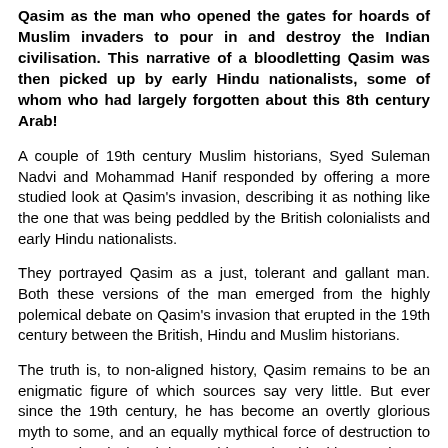Qasim as the man who opened the gates for hoards of Muslim invaders to pour in and destroy the Indian civilisation. This narrative of a bloodletting Qasim was then picked up by early Hindu nationalists, some of whom who had largely forgotten about this 8th century Arab!
A couple of 19th century Muslim historians, Syed Suleman Nadvi and Mohammad Hanif responded by offering a more studied look at Qasim’s invasion, describing it as nothing like the one that was being peddled by the British colonialists and early Hindu nationalists.
They portrayed Qasim as a just, tolerant and gallant man. Both these versions of the man emerged from the highly polemical debate on Qasim’s invasion that erupted in the 19th century between the British, Hindu and Muslim historians.
The truth is, to non-aligned history, Qasim remains to be an enigmatic figure of which sources say very little. But ever since the 19th century, he has become an overtly glorious myth to some, and an equally mythical force of destruction to others. Historical truth has nothing to do with either version.